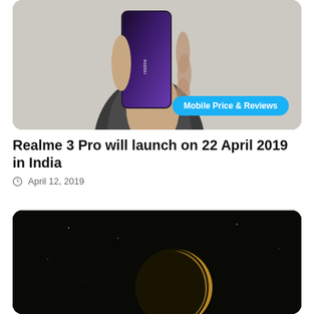[Figure (photo): A hand holding a Realme smartphone (showing the back, with purple-to-dark gradient finish and Realme branding). Background is light beige/gray. A cyan badge labeled 'Mobile Price & Reviews' is overlaid at the bottom right.]
Realme 3 Pro will launch on 22 April 2019 in India
April 12, 2019
[Figure (photo): A crescent moon photographed against a dark/black night sky background. The moon appears golden/yellow and is positioned in the lower-center area of the image.]